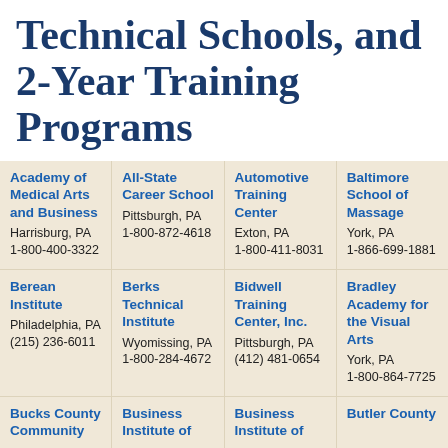Technical Schools, and 2-Year Training Programs
| Academy of Medical Arts and Business
Harrisburg, PA
1-800-400-3322 | All-State Career School
Pittsburgh, PA
1-800-872-4618 | Automotive Training Center
Exton, PA
1-800-411-8031 | Baltimore School of Massage
York, PA
1-866-699-1881 |
| Berean Institute
Philadelphia, PA
(215) 236-6011 | Berks Technical Institute
Wyomissing, PA
1-800-284-4672 | Bidwell Training Center, Inc.
Pittsburgh, PA
(412) 481-0654 | Bradley Academy for the Visual Arts
York, PA
1-800-864-7725 |
| Bucks County Community | Business Institute of | Business Institute of | Butler County |